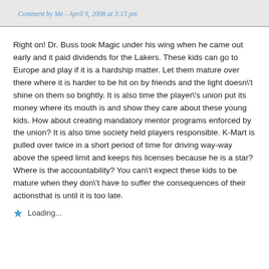Comment by Me - April 9, 2008 at 3:13 pm
Right on! Dr. Buss took Magic under his wing when he came out early and it paid dividends for the Lakers. These kids can go to Europe and play if it is a hardship matter. Let them mature over there where it is harder to be hit on by friends and the light doesn\'t shine on them so brightly. It is also time the player\'s union put its money where its mouth is and show they care about these young kids. How about creating mandatory mentor programs enforced by the union? It is also time society held players responsible. K-Mart is pulled over twice in a short period of time for driving way-way above the speed limit and keeps his licenses because he is a star? Where is the accountability? You can\'t expect these kids to be mature when they don\'t have to suffer the consequences of their actionsthat is until it is too late.
Loading...